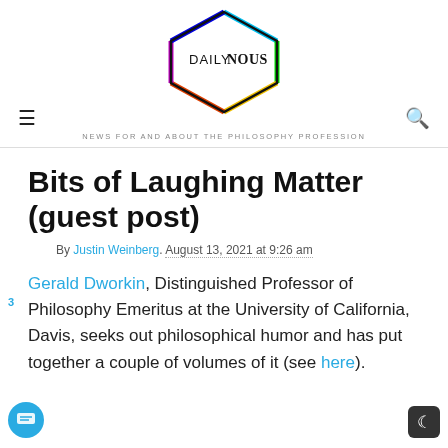[Figure (logo): Daily Nous logo — hexagon shape with colorful edges containing the text DAILY NOUS, with tagline NEWS FOR AND ABOUT THE PHILOSOPHY PROFESSION below]
Bits of Laughing Matter (guest post)
By Justin Weinberg. August 13, 2021 at 9:26 am
Gerald Dworkin, Distinguished Professor of Philosophy Emeritus at the University of California, Davis, seeks out philosophical humor and has put together a couple of volumes of it (see here).